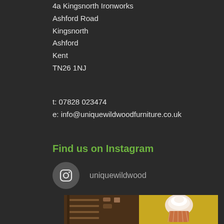4a Kingsnorth Ironworks
Ashford Road
Kingsnorth
Ashford
Kent
TN26 1NJ
t: 07828 023474
e: info@uniquewildwoodfurniture.co.uk
Find us on Instagram
uniquewildwood
[Figure (photo): Instagram photo strip showing wooden furniture shelving on left and a cupcake/dessert image on a yellow background on right]